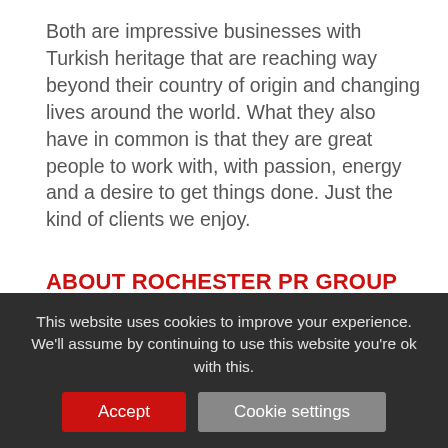Both are impressive businesses with Turkish heritage that are reaching way beyond their country of origin and changing lives around the world. What they also have in common is that they are great people to work with, with passion, energy and a desire to get things done. Just the kind of clients we enjoy.
ABOUT ROCHESTER PR GROUP
OUR SERVICES
THE TEAM
ALL CURRENT CLIENTS
ALL CLIENT EXPERIENCE
This website uses cookies to improve your experience. We'll assume by continuing to use this website you're ok with this.